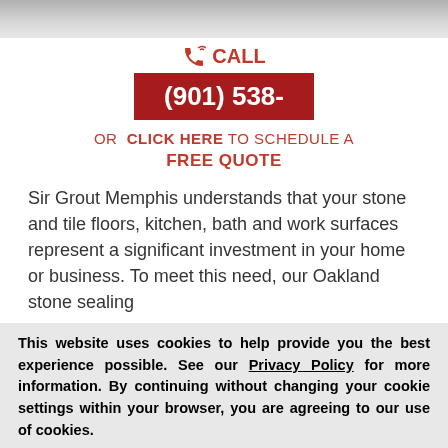[Figure (photo): Top partial image showing a person in white, cropped at top of page]
CALL
(901) 538-
OR CLICK HERE TO SCHEDULE A FREE QUOTE
Sir Grout Memphis understands that your stone and tile floors, kitchen, bath and work surfaces represent a significant investment in your home or business. To meet this need, our Oakland stone sealing
This website uses cookies to help provide you the best experience possible. See our Privacy Policy for more information. By continuing without changing your cookie settings within your browser, you are agreeing to our use of cookies.
ACCEPT